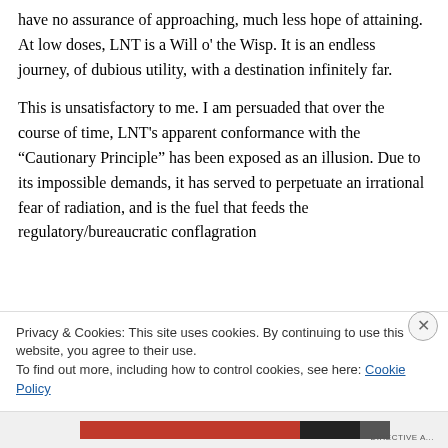have no assurance of approaching, much less hope of attaining. At low doses, LNT is a Will o' the Wisp. It is an endless journey, of dubious utility, with a destination infinitely far.
This is unsatisfactory to me. I am persuaded that over the course of time, LNT's apparent conformance with the “Cautionary Principle” has been exposed as an illusion. Due to its impossible demands, it has served to perpetuate an irrational fear of radiation, and is the fuel that feeds the regulatory/bureaucratic conflagration
Privacy & Cookies: This site uses cookies. By continuing to use this website, you agree to their use.
To find out more, including how to control cookies, see here: Cookie Policy
Close and accept